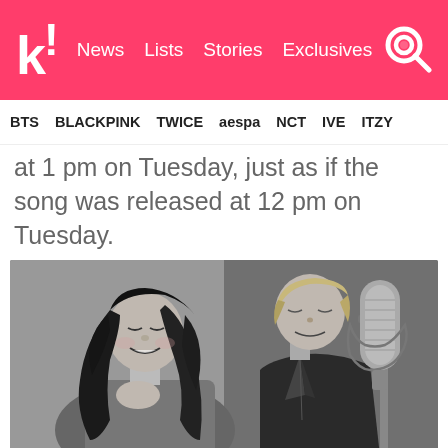k! | News  Lists  Stories  Exclusives
BTS  BLACKPINK  TWICE  aespa  NCT  IVE  ITZY
at 1 pm on Tuesday, just as if the song was released at 12 pm on Tuesday.
[Figure (photo): Black and white photo of two people, a woman with long dark hair smiling and a man in a leather jacket near a studio microphone.]
At the time of posting, Soyou and Baekhyun's "Rain" tops the MelOn, Genie, and Bugs charts.
This new proposition could be put into effect as